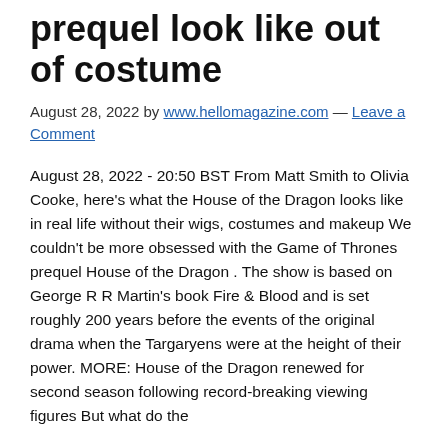prequel look like out of costume
August 28, 2022 by www.hellomagazine.com — Leave a Comment
August 28, 2022 - 20:50 BST From Matt Smith to Olivia Cooke, here's what the House of the Dragon looks like in real life without their wigs, costumes and makeup We couldn't be more obsessed with the Game of Thrones prequel House of the Dragon . The show is based on George R R Martin's book Fire & Blood and is set roughly 200 years before the events of the original drama when the Targaryens were at the height of their power. MORE: House of the Dragon renewed for second season following record-breaking viewing figures But what do the